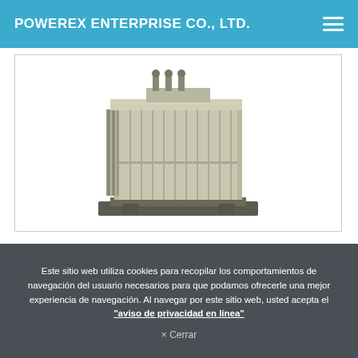POWEREX ENTERPRISE CO., LTD.
[Figure (photo): Oil-immersed distribution transformer with corrugated tank fins, beige/gray color, viewed from a 3/4 angle perspective showing top, front, and side panels.]
Este sitio web utiliza cookies para recopilar los comportamientos de navegación del usuario necesarios para que podamos ofrecerle una mejor experiencia de navegación. Al navegar por este sitio web, usted acepta el "aviso de privacidad en línea"
× Cerrar